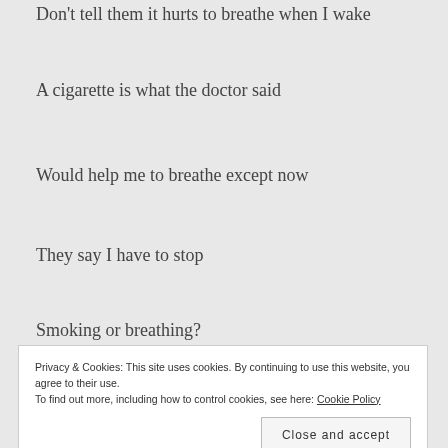Don't tell them it hurts to breathe when I wake
A cigarette is what the doctor said
Would help me to breathe except now
They say I have to stop
Smoking or breathing?
Might be both if I keep feeling this bad
Privacy & Cookies: This site uses cookies. By continuing to use this website, you agree to their use.
To find out more, including how to control cookies, see here: Cookie Policy
Close and accept